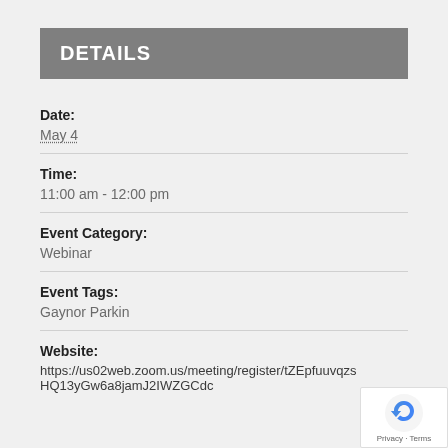DETAILS
Date:
May 4
Time:
11:00 am - 12:00 pm
Event Category:
Webinar
Event Tags:
Gaynor Parkin
Website:
https://us02web.zoom.us/meeting/register/tZEpfuuvqzsHQ13yGw6a8jamJ2IWZGCdc